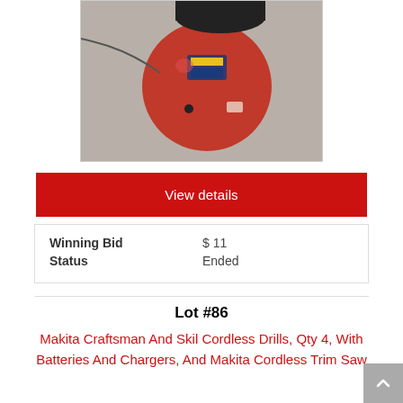[Figure (photo): A red circular fish tape reel with wire extending out, viewed from above on a gray surface.]
View details
| Winning Bid | $ 11 |
| Status | Ended |
Lot #86
Makita Craftsman And Skil Cordless Drills, Qty 4, With Batteries And Chargers, And Makita Cordless Trim Saw